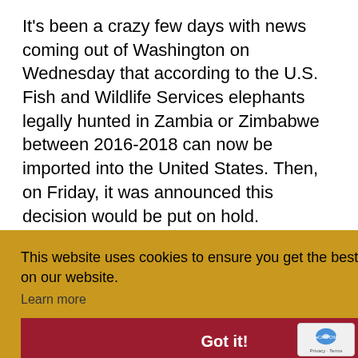It's been a crazy few days with news coming out of Washington on Wednesday that according to the U.S. Fish and Wildlife Services elephants legally hunted in Zambia or Zimbabwe between 2016-2018 can now be imported into the United States. Then, on Friday, it was announced this decision would be put on hold.
This website uses cookies to ensure you get the best experience on our website. Learn more
Got it!
THE THE UNITED BAN
Africa Elephant Project's mission is to protect elephants by preserving wildlife resources, stopping away elephants are poached for their ivory and any ivory